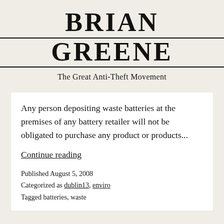BRIAN GREENE
The Great Anti-Theft Movement
Any person depositing waste batteries at the premises of any battery retailer will not be obligated to purchase any product or products...
Continue reading
Published August 5, 2008
Categorized as dublin13, enviro
Tagged batteries, waste